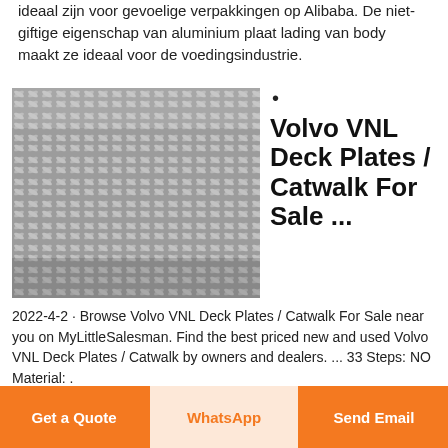ideaal zijn voor gevoelige verpakkingen op Alibaba. De niet-giftige eigenschap van aluminium plaat lading van body maakt ze ideaal voor de voedingsindustrie.
[Figure (photo): Close-up photo of aluminum diamond/checker plate pattern with raised ribbed texture in a criss-cross pattern, grey metallic surface.]
Volvo VNL Deck Plates / Catwalk For Sale ...
2022-4-2 · Browse Volvo VNL Deck Plates / Catwalk For Sale near you on MyLittleSalesman. Find the best priced new and used Volvo VNL Deck Plates / Catwalk by owners and dealers. ... 33 Steps: NO Material: .
Get a Quote
WhatsApp
Send Email